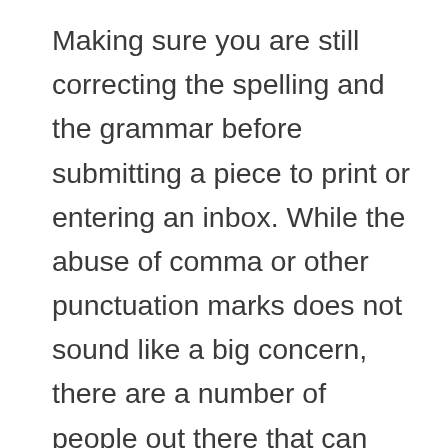Making sure you are still correcting the spelling and the grammar before submitting a piece to print or entering an inbox. While the abuse of comma or other punctuation marks does not sound like a big concern, there are a number of people out there that can find basic problems like this and overlook the rest of the project. For eg, if you deliver leaflets as part of your ad campaign, and if the leaflet template contains several spelling errors in the document, it can backfire. Customers may not take such errors kindly, and clearly